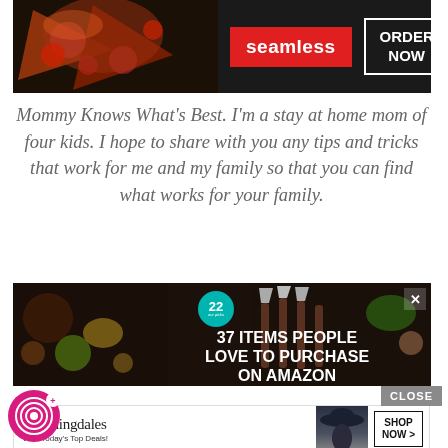[Figure (screenshot): Seamless food delivery advertisement banner with pizza image, red Seamless logo button, dark background, and 'ORDER NOW' button in white border box]
Mommy Knows What's Best. I'm a stay at home mom of four kids. I hope to share with you any tips and tricks that work for me and my family so that you can find what works for your family.
[Figure (screenshot): Amazon advertisement banner showing knives and kitchen items with text '37 ITEMS PEOPLE LOVE TO PURCHASE ON AMAZON' and a teal badge with '22']
[Figure (screenshot): Bloomingdale's advertisement with logo, 'View Today's Top Deals!' tagline, model in hat, and 'SHOP NOW >' button. Pink fingerprint logo at bottom left. CLOSE button.]